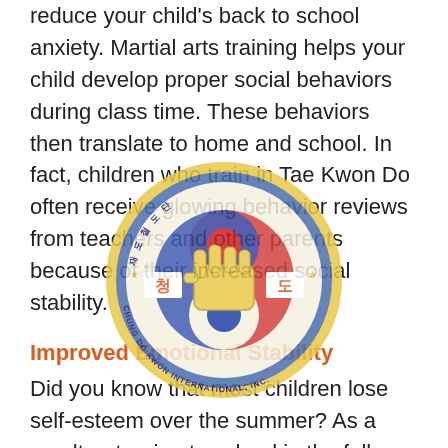reduce your child's back to school anxiety. Martial arts training helps your child develop proper social behaviors during class time. These behaviors then translate to home and school. In fact, children who train in Tae Kwon Do often receive glowing behavior reviews from teachers and other parents because of their increased social stability.
Improved Emotional Stability
Did you know that most children lose self-esteem over the summer? As a result, returning to school in the fall can be stressful and full of anxiety. Many of the fears associated with meeting new teachers, making new friends, and bullying can be dissuaded by allowing your child to participate in activities that strengthen their emotional outlook. Instead of dreading the return to school they will be excited about all the
[Figure (logo): Chung Do Kwon International Inc. circular logo with a golden fist in the center, Korean characters, and red/blue Taekwondo colors]